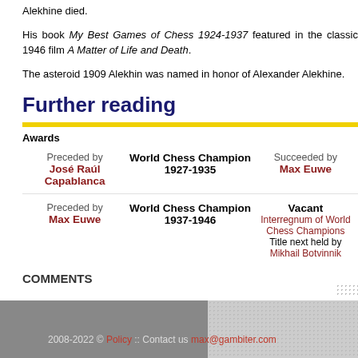Alekhine died.
His book My Best Games of Chess 1924-1937 featured in the classic 1946 film A Matter of Life and Death.
The asteroid 1909 Alekhin was named in honor of Alexander Alekhine.
Further reading
| Preceded by | Title | Succeeded by |
| --- | --- | --- |
| José Raúl Capablanca | World Chess Champion 1927-1935 | Max Euwe |
| Max Euwe | World Chess Champion 1937-1946 | Vacant
Interregnum of World Chess Champions
Title next held by
Mikhail Botvinnik |
COMMENTS
2008-2022 © Policy :: Contact us max@gambiter.com